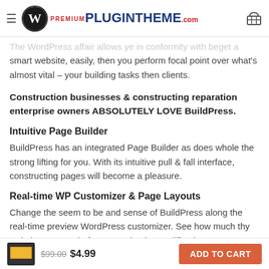PREMIUM PLUGINTHEME.com
The WordPress affair allows ye in conformity with beget a smart website, easily, then you perform focal point over what's almost vital – your building tasks then clients.
Construction businesses & constructing reparation enterprise owners ABSOLUTELY LOVE BuildPress.
Intuitive Page Builder
BuildPress has an integrated Page Builder as does whole the strong lifting for you. With its intuitive pull & fall interface, constructing pages will become a pleasure.
Real-time WP Customizer & Page Layouts
Change the seem to be and sense of BuildPress along the real-time preview WordPress customizer. See how much thy website appears before ye make the modifications live. Th
$99.00  $4.99  ADD TO CART